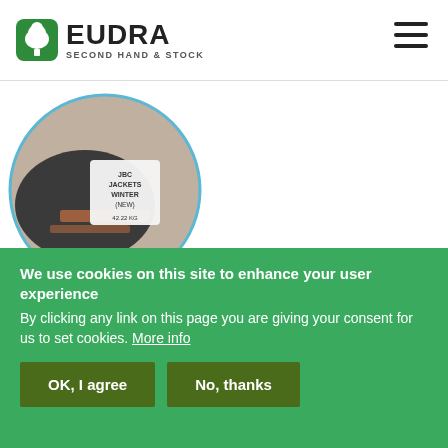[Figure (logo): Eudra Second Hand & Stock logo with green tree icon]
[Figure (photo): Circular product photo showing a packaged bundle of H&M + JBC winter jackets with a label reading JACKETS WINTER (NEW) 42.22 KG]
H&M + JBC JACKETS WINTER
2021-10-07
We use cookies on this site to enhance your user experience By clicking any link on this page you are giving your consent for us to set cookies. More info
OK, I agree
No, thanks